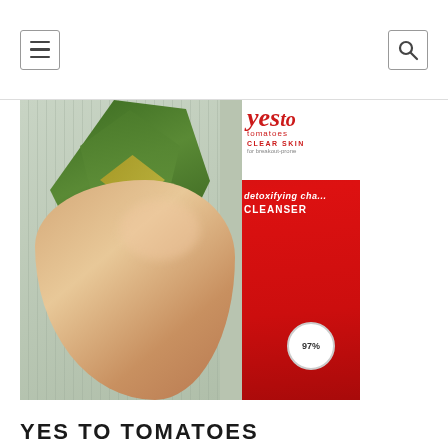navigation header with hamburger menu and search icon
[Figure (photo): A person's hand holding a red Yes To Tomatoes Detoxifying Charcoal Cleanser bottle against a background of green plants and grey wall]
YES TO TOMATOES DETOXIFYING CHARCOA...